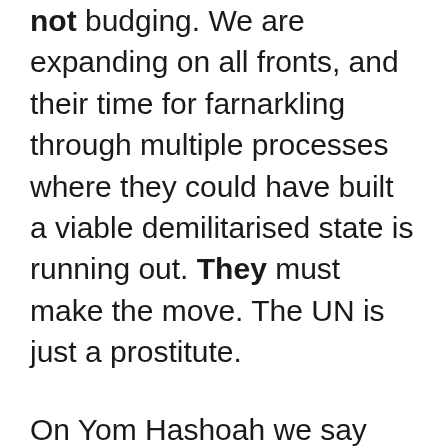not budging. We are expanding on all fronts, and their time for farnarkling through multiple processes where they could have built a viable demilitarised state is running out. They must make the move. The UN is just a prostitute.
On Yom Hashoah we say “Never Again”. I wouldn’t trust those words with the left-wing in Israeli politics. The Meretz types, the opportunists and the seat piners and liners. This is no joke.